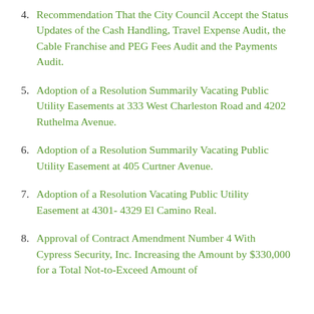4. Recommendation That the City Council Accept the Status Updates of the Cash Handling, Travel Expense Audit, the Cable Franchise and PEG Fees Audit and the Payments Audit.
5. Adoption of a Resolution Summarily Vacating Public Utility Easements at 333 West Charleston Road and 4202 Ruthelma Avenue.
6. Adoption of a Resolution Summarily Vacating Public Utility Easement at 405 Curtner Avenue.
7. Adoption of a Resolution Vacating Public Utility Easement at 4301- 4329 El Camino Real.
8. Approval of Contract Amendment Number 4 With Cypress Security, Inc. Increasing the Amount by $330,000 for a Total Not-to-Exceed Amount of